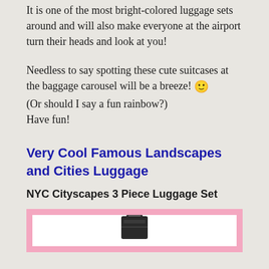It is one of the most bright-colored luggage sets around and will also make everyone at the airport turn their heads and look at you!
Needless to say spotting these cute suitcases at the baggage carousel will be a breeze! 🙂
(Or should I say a fun rainbow?)
Have fun!
Very Cool Famous Landscapes and Cities Luggage
NYC Cityscapes 3 Piece Luggage Set
[Figure (photo): Pink-bordered product image box showing the bottom portion of a dark-colored suitcase on a white background]